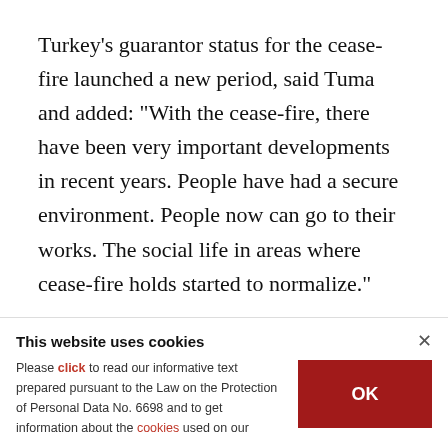Turkey's guarantor status for the cease-fire launched a new period, said Tuma and added: "With the cease-fire, there have been very important developments in recent years. People have had a secure environment. People now can go to their works. The social life in areas where cease-fire holds started to normalize."
A council resolution adopted in December 2015 unanimously endorsed a strategy for peace in Syria
This website uses cookies
Please click to read our informative text prepared pursuant to the Law on the Protection of Personal Data No. 6698 and to get information about the cookies used on our